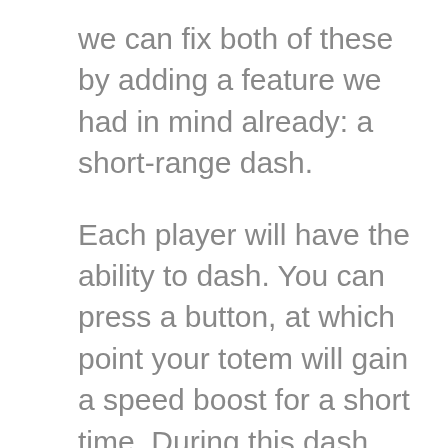we can fix both of these by adding a feature we had in mind already: a short-range dash.
Each player will have the ability to dash. You can press a button, at which point your totem will gain a speed boost for a short time. During this dash, you also smash through blocks you come in contact with. After using it, you'll have to wait several seconds before being able to dash again.
The intent of this mechanic is to allow players to dodge projectiles, get around